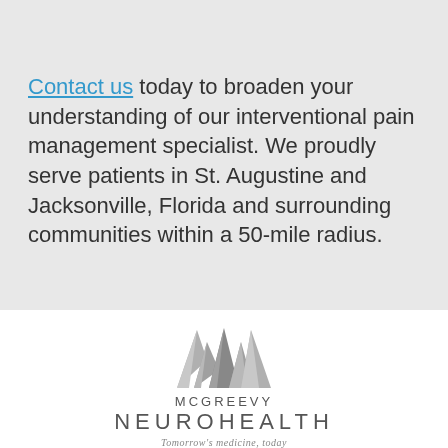Contact us today to broaden your understanding of our interventional pain management specialist. We proudly serve patients in St. Augustine and Jacksonville, Florida and surrounding communities within a 50-mile radius.
[Figure (logo): McGreevy NeuroHealth logo with stylized mountain/chevron graphic above the text. Tagline: Tomorrow's medicine, today]